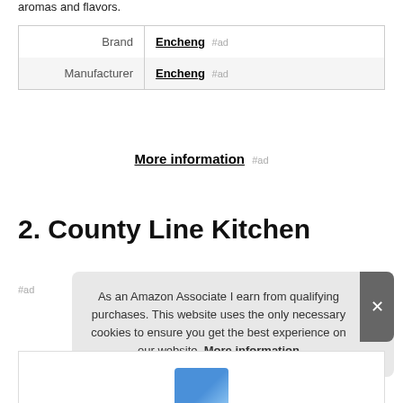aromas and flavors.
|  |  |
| --- | --- |
| Brand | Encheng #ad |
| Manufacturer | Encheng #ad |
More information #ad
2. County Line Kitchen
#ad
As an Amazon Associate I earn from qualifying purchases. This website uses the only necessary cookies to ensure you get the best experience on our website. More information